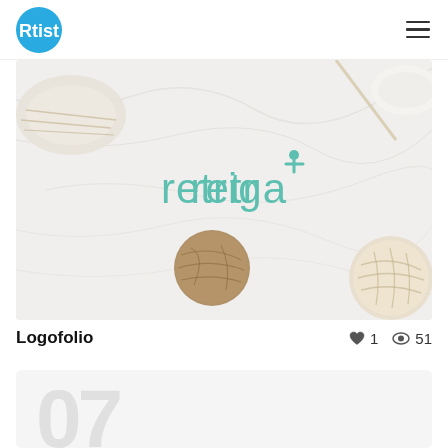Rtist logo | hamburger menu
[Figure (photo): Hero image showing the retriga logo on a marble background with natural fiber/rope decorative elements (yarn ball, wicker ball, twisted cotton). The logo text 'retriga' is displayed in teal/mint color in the center.]
Logofolio  ♥ 1  👁 51
[Figure (other): Second card showing large light gray '07' numeral text partially visible at the bottom of the page]